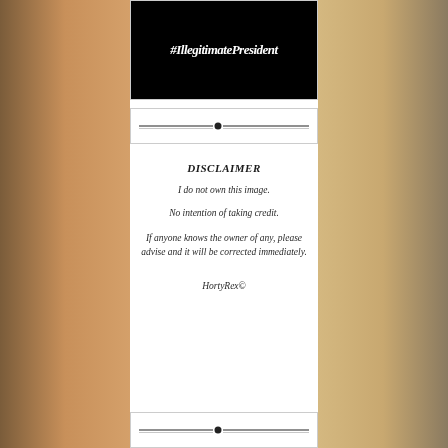[Figure (screenshot): Black background image with white italic bold text reading '#IllegalitimatePresident']
[Figure (other): Decorative horizontal divider with lines and a diamond/dot ornament in the center]
DISCLAIMER
I do not own this image.
No intention of taking credit.
If anyone knows the owner of any, please advise and it will be corrected immediately.
HortyRex©
[Figure (other): Decorative horizontal divider with lines and a diamond/dot ornament in the center]